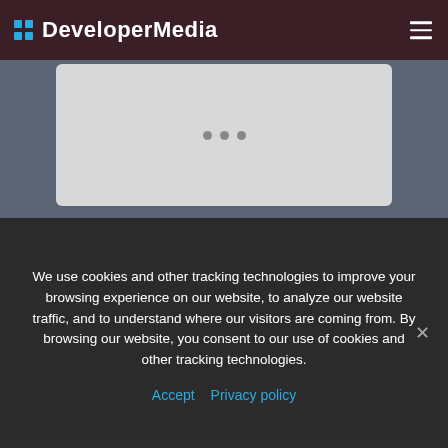DeveloperMedia
[Figure (screenshot): Gray content card placeholder with three dots indicating loading state]
We use cookies and other tracking technologies to improve your browsing experience on our website, to analyze our website traffic, and to understand where our visitors are coming from. By browsing our website, you consent to our use of cookies and other tracking technologies.
Accept   Privacy policy